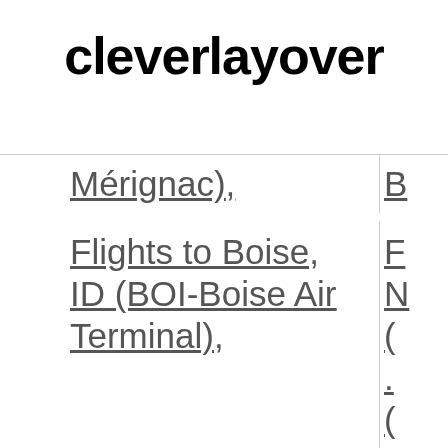cleverlayover
Mérignac)
Flights to Boise, ID (BOI-Boise Air Terminal)
Flights to